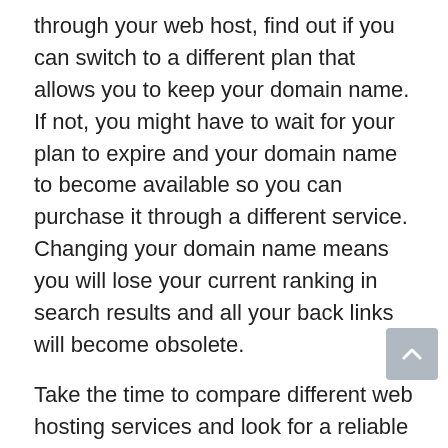through your web host, find out if you can switch to a different plan that allows you to keep your domain name. If not, you might have to wait for your plan to expire and your domain name to become available so you can purchase it through a different service. Changing your domain name means you will lose your current ranking in search results and all your back links will become obsolete.
Take the time to compare different web hosting services and look for a reliable solution. Do some background research on the services you are interested in and call their customer service to make sure their technicians are properly qualified. Find out this month's most common...